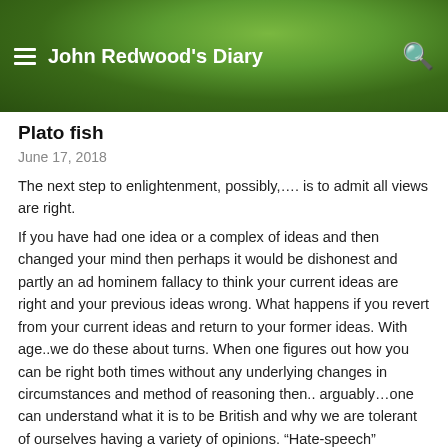[Figure (photo): Green leafy plant background banner with white text overlay showing blog header for John Redwood's Diary]
John Redwood's Diary
Plato fish
June 17, 2018
The next step to enlightenment, possibly,…. is to admit all views are right.
If you have had one idea or a complex of ideas and then changed your mind then perhaps it would be dishonest and partly an ad hominem fallacy to think your current ideas are right and your previous ideas wrong. What happens if you revert from your current ideas and return to your former ideas. With age..we do these about turns. When one figures out how you can be right both times without any underlying changes in circumstances and method of reasoning then.. arguably…one can understand what it is to be British and why we are tolerant of ourselves having a variety of opinions. “Hate-speech” depends on ones particular momentary preference and the